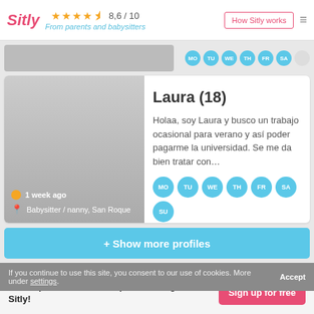Sitly — From parents and babysitters — 8,6 / 10 — How Sitly works
[Figure (screenshot): Partial profile card strip at top]
Laura (18)
Holaa, soy Laura y busco un trabajo ocasional para verano y así poder pagarme la universidad. Se me da bien tratar con…
1 week ago
Babysitter / nanny, San Roque
+ Show more profiles
If you continue to use this site, you consent to our use of cookies. More under settings.
Accept
70,000 parents in San Roque are using Sitly!
Sign up for free